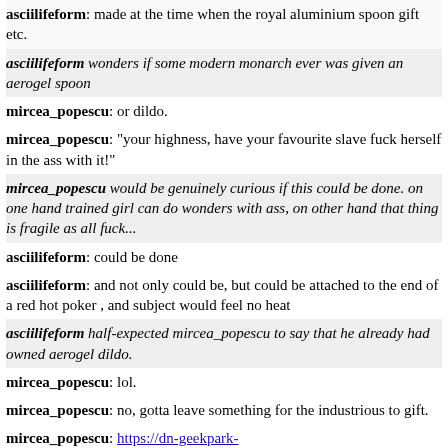asciilifeform: made at the time when the royal aluminium spoon gift etc.
asciilifeform wonders if some modern monarch ever was given an aerogel spoon
mircea_popescu: or dildo.
mircea_popescu: "your highness, have your favourite slave fuck herself in the ass with it!"
mircea_popescu would be genuinely curious if this could be done. on one hand trained girl can do wonders with ass, on other hand that thing is fragile as all fuck...
asciilifeform: could be done
asciilifeform: and not only could be, but could be attached to the end of a red hot poker , and subject would feel no heat
asciilifeform half-expected mircea_popescu to say that he already had owned aerogel dildo.
mircea_popescu: lol.
mircea_popescu: no, gotta leave something for the industrious to gift.
mircea_popescu: https://dn-geekpark-new.qbox.me/uploads/image/file/25/77/2577520ddc5fb91082bd7d3b12fe8e69.jpg << very much artpiece.
asciilifeform: famous pic
mircea_popescu: aha.
asciilifeform: i recall seeing it in print, even
mircea_popescu: well you print things
asciilifeform: iirc early 1990s ( pre-pantsuitization ) sci-am mag